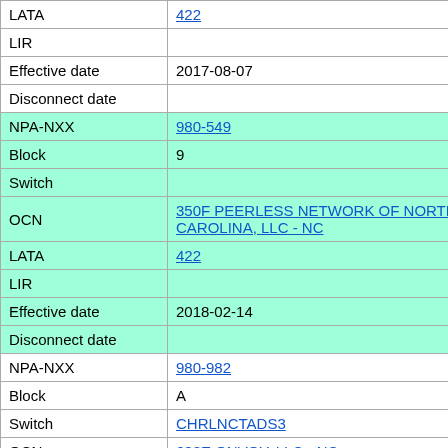| Field | Value |
| --- | --- |
| LATA | 422 |
| LIR |  |
| Effective date | 2017-08-07 |
| Disconnect date |  |
| NPA-NXX | 980-549 |
| Block | 9 |
| Switch |  |
| OCN | 350F PEERLESS NETWORK OF NORTH CAROLINA, LLC - NC |
| LATA | 422 |
| LIR |  |
| Effective date | 2018-02-14 |
| Disconnect date |  |
| NPA-NXX | 980-982 |
| Block | A |
| Switch | CHRLNCTADS3 |
| OCN | 638E ONVOY, LLC - NC |
| LATA | 422 |
| LIR |  |
| Effective date |  |
| Disconnect date |  |
| NPA-NXX | 980-982 |